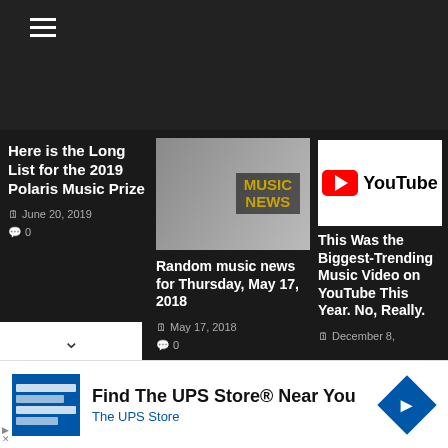[Figure (screenshot): Dark website header with hamburger menu icon (three horizontal lines) on dark background]
Here is the Long List for the 2019 Polaris Music Prize
June 20, 2019
0
[Figure (photo): Music News thumbnail: man with sunglasses and beard, MUSIC NEWS text overlay]
Random music news for Thursday, May 17, 2018
May 17, 2018
0
[Figure (logo): YouTube logo on white background: red play button icon and YouTube text]
This Was the Biggest-Trending Music Video on YouTube This Year. No, Really.
December 8,
[Figure (infographic): Advertisement: Find The UPS Store Near You - The UPS Store, with UPS logo icon and blue diamond arrow icon]